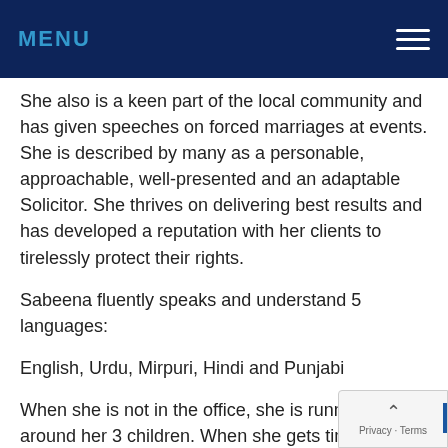MENU
She also is a keen part of the local community and has given speeches on forced marriages at events. She is described by many as a personable, approachable, well-presented and an adaptable Solicitor. She thrives on delivering best results and has developed a reputation with her clients to tirelessly protect their rights.
Sabeena fluently speaks and understand 5 languages:
English, Urdu, Mirpuri, Hindi and Punjabi
When she is not in the office, she is running around her 3 children. When she gets time away from everything she takes a keen interest in thai boxing and fin...